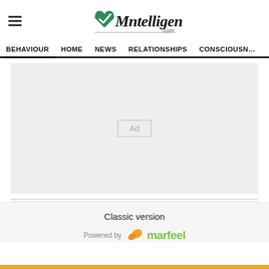Mntelligence.com
[Figure (logo): Mntelligence.com logo with green heart M graphic and script text]
BEHAVIOUR | HOME | NEWS | RELATIONSHIPS | CONSCIOUSNESS
[Figure (other): Advertisement placeholder box with 'Ad' label on grey background]
Classic version
[Figure (logo): Powered by marfeel logo with orange leaf icon and green marfeel text]